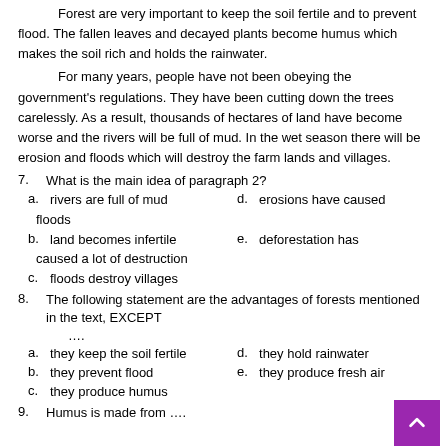Forest are very important to keep the soil fertile and to prevent flood. The fallen leaves and decayed plants become humus which makes the soil rich and holds the rainwater.
For many years, people have not been obeying the government's regulations. They have been cutting down the trees carelessly. As a result, thousands of hectares of land have become worse and the rivers will be full of mud. In the wet season there will be erosion and floods which will destroy the farm lands and villages.
7.   What is the main idea of paragraph 2?
a.   rivers are full of mud    d.  erosions have caused floods
b.   land becomes infertile    e.  deforestation has caused a lot of destruction
c.   floods destroy villages
8.   The following statement are the advantages of forests mentioned in the text, EXCEPT ....
a.   they keep the soil fertile    d.  they hold rainwater
b.   they prevent flood    e.  they produce fresh air
c.   they produce humus
9.   Humus is made from ....